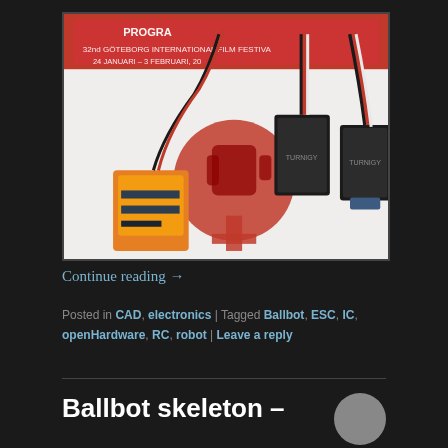[Figure (photo): Photo of electronic components (RC receiver and two ESC speed controllers with black, red, and white wires) placed on a bag from the 32nd Göteborg International Film Festival, 24 januari - 3 februari 2014]
Continue reading →
Posted in CAD, electronics | Tagged Ballbot, ESC, IC, openHardware, RC, robot | Leave a reply
Ballbot skeleton –